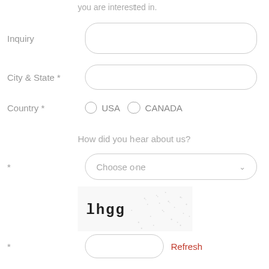you are interested in.
Inquiry
City & State *
Country *
USA   CANADA
How did you hear about us?
*
Choose one
[Figure (other): CAPTCHA image showing distorted text 'lhgg' with noise dots]
*
Refresh
Please submit your information to locate a retail store in your city.
SUBMIT